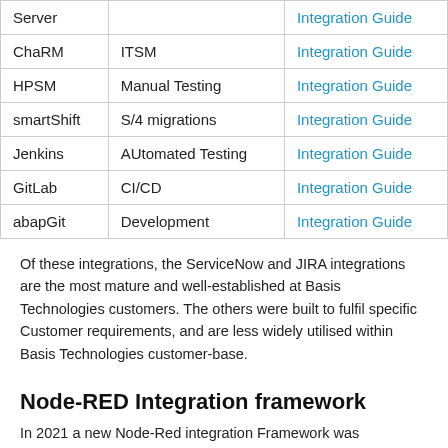| Server |  | Integration Guide |
| ChaRM | ITSM | Integration Guide |
| HPSM | Manual Testing | Integration Guide |
| smartShift | S/4 migrations | Integration Guide |
| Jenkins | AUtomated Testing | Integration Guide |
| GitLab | CI/CD | Integration Guide |
| abapGit | Development | Integration Guide |
Of these integrations, the ServiceNow and JIRA integrations are the most mature and well-established at Basis Technologies customers. The others were built to fulfil specific Customer requirements, and are less widely utilised within Basis Technologies customer-base.
Node-RED Integration framework
In 2021 a new Node-Red integration Framework was